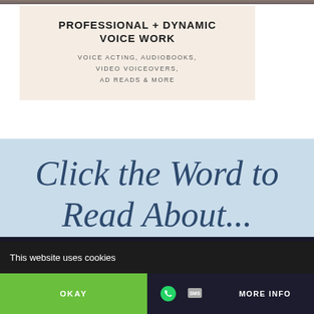[Figure (photo): Partial image of person(s), cropped at top of page — dark/muted tones]
PROFESSIONAL + DYNAMIC VOICE WORK
VOICE ACTING, AUDIOBOOKS, VIDEO VOICEOVERS, AD READS & MORE
Click the Word to Read About...
Adult / Children
Genres
This website uses cookies
OKAY
MORE INFO